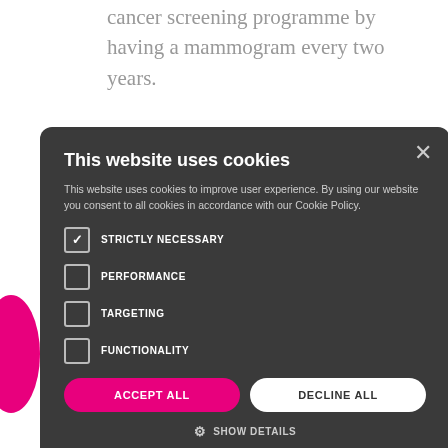cancer screening programme by having a mammogram every two years.
This website uses cookies

This website uses cookies to improve user experience. By using our website you consent to all cookies in accordance with our Cookie Policy.

STRICTLY NECESSARY
PERFORMANCE
TARGETING
FUNCTIONALITY

[ACCEPT ALL] [DECLINE ALL]

⚙ SHOW DETAILS
assigns participating women to follow